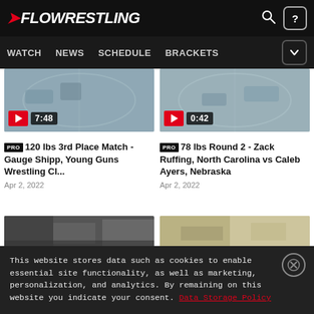FLOWRESTLING — navigation: WATCH, NEWS, SCHEDULE, BRACKETS
[Figure (screenshot): Video thumbnail left — wrestling match, duration 7:48]
[Figure (screenshot): Video thumbnail right — wrestling match, duration 0:42]
PRO 120 lbs 3rd Place Match - Gauge Shipp, Young Guns Wrestling Cl...
PRO 78 lbs Round 2 - Zack Ruffing, North Carolina vs Caleb Ayers, Nebraska
Apr 2, 2022
Apr 2, 2022
[Figure (screenshot): Bottom video thumbnail left — partial view of wrestling arena]
[Figure (screenshot): Bottom video thumbnail right — partial view of wrestling venue]
This website stores data such as cookies to enable essential site functionality, as well as marketing, personalization, and analytics. By remaining on this website you indicate your consent. Data Storage Policy